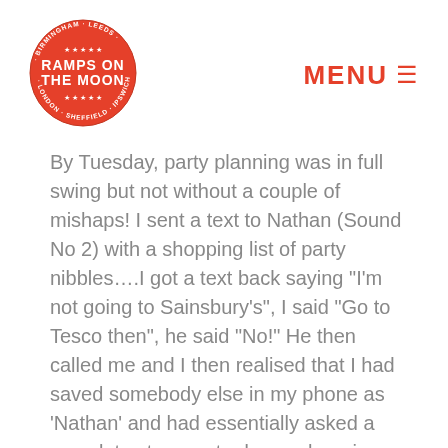[Figure (logo): Ramps on the Moon circular logo — orange circle with white text reading RAMPS ON THE MOON and city names around the border: BIRMINGHAM, LEEDS, ROTHERHAM, LONDON, SHEFFIELD, IPSWICH, with stars]
MENU ☰
By Tuesday, party planning was in full swing but not without a couple of mishaps! I sent a text to Nathan (Sound No 2) with a shopping list of party nibbles….I got a text back saying "I'm not going to Sainsbury's", I said "Go to Tesco then", he said "No!" He then called me and I then realised that I had saved somebody else in my phone as 'Nathan' and had essentially asked a complete stranger to do my shopping… #fail!  We then headed into the theatre for a little rejig of the show which saw fabulous 'Super Swing' Becky (Newspaper Vendor) taking on a whole new role and doing a grand job…